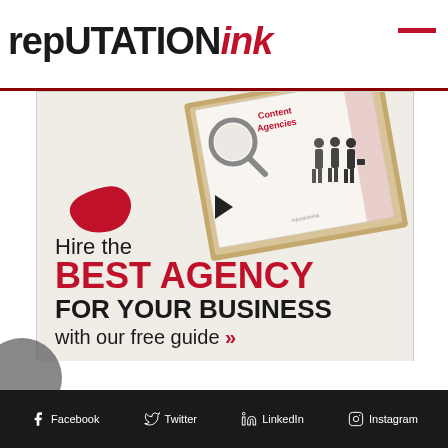REPUTATION INK
[Figure (illustration): Advertisement for Reputation Ink showing a book/guide with text: Hire the BEST AGENCY FOR YOUR BUSINESS with our free guide, with a magnifying glass and people silhouettes illustration]
Facebook  Twitter  LinkedIn  Instagram